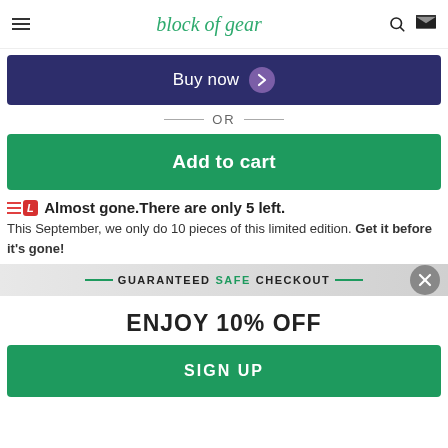block of gear
Buy now
— OR —
Add to cart
Almost gone. There are only 5 left.
This September, we only do 10 pieces of this limited edition. Get it before it's gone!
GUARANTEED SAFE CHECKOUT
ENJOY 10% OFF
SIGN UP